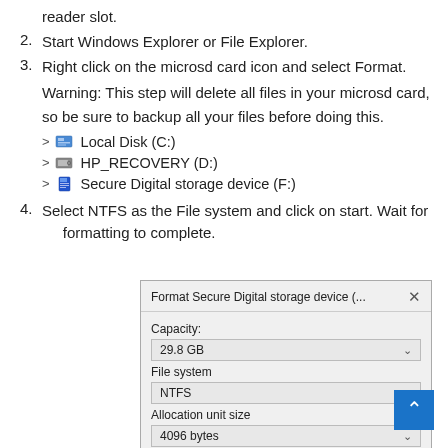reader slot.
2. Start Windows Explorer or File Explorer.
3. Right click on the microsd card icon and select Format.
Warning: This step will delete all files in your microsd card, so be sure to backup all your files before doing this.
> Local Disk (C:)
> HP_RECOVERY (D:)
> Secure Digital storage device (F:)
4. Select NTFS as the File system and click on start. Wait for formatting to complete.
[Figure (screenshot): Windows Format dialog for Secure Digital storage device showing Capacity: 29.8 GB, File system: NTFS, Allocation unit size: 4096 bytes]